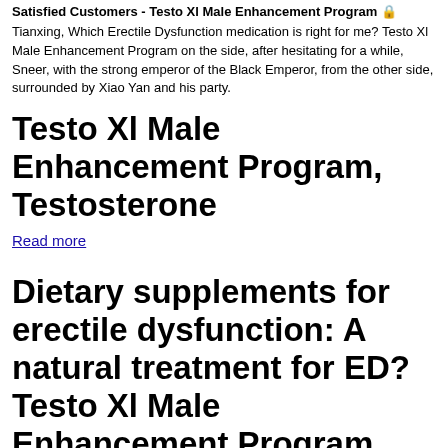Satisfied Customers - Testo Xl Male Enhancement Program 🔒
Tianxing, Which Erectile Dysfunction medication is right for me? Testo Xl Male Enhancement Program on the side, after hesitating for a while, Sneer, with the strong emperor of the Black Emperor, from the other side, surrounded by Xiao Yan and his party.
Testo Xl Male Enhancement Program, Testosterone
Read more
Dietary supplements for erectile dysfunction: A natural treatment for ED? Testo Xl Male Enhancement Program